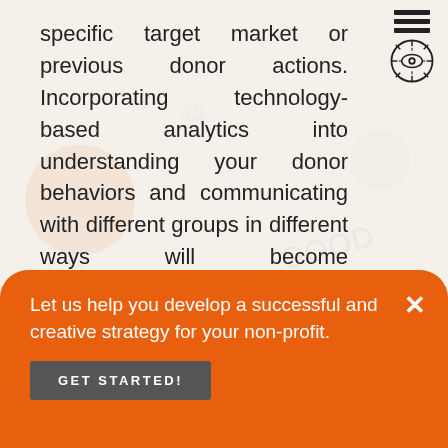specific target market or previous donor actions. Incorporating technology-based analytics into understanding your donor behaviors and communicating with different groups in different ways will become commonplace over the next five years. A “one-size-fits-all” marketing message plan will ultimately be obsolete.
TEST AND LEARN
Let us help you develop a successful and creative strategy for your non-profit.